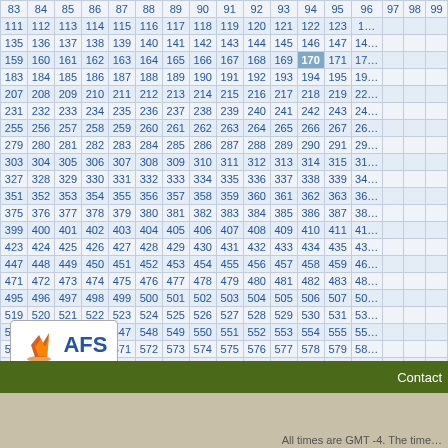| 83 | 84 | 85 | 86 | 87 | 88 | 89 | 90 | 91 | 92 | 93 | 94 | 95 | 96 | 97 | 98 | 99 |
| --- | --- | --- | --- | --- | --- | --- | --- | --- | --- | --- | --- | --- | --- | --- | --- | --- |
| 111 | 112 | 113 | 114 | 115 | 116 | 117 | 118 | 119 | 120 | 121 | 122 | 123 | 1… |
| 135 | 136 | 137 | 138 | 139 | 140 | 141 | 142 | 143 | 144 | 145 | 146 | 147 | 14… |
| 159 | 160 | 161 | 162 | 163 | 164 | 165 | 166 | 167 | 168 | 169 | 170 | 171 | 17… |
| 183 | 184 | 185 | 186 | 187 | 188 | 189 | 190 | 191 | 192 | 193 | 194 | 195 | 19… |
| 207 | 208 | 209 | 210 | 211 | 212 | 213 | 214 | 215 | 216 | 217 | 218 | 219 | 22… |
| 231 | 232 | 233 | 234 | 235 | 236 | 237 | 238 | 239 | 240 | 241 | 242 | 243 | 24… |
| 255 | 256 | 257 | 258 | 259 | 260 | 261 | 262 | 263 | 264 | 265 | 266 | 267 | 26… |
| 279 | 280 | 281 | 282 | 283 | 284 | 285 | 286 | 287 | 288 | 289 | 290 | 291 | 29… |
| 303 | 304 | 305 | 306 | 307 | 308 | 309 | 310 | 311 | 312 | 313 | 314 | 315 | 31… |
| 327 | 328 | 329 | 330 | 331 | 332 | 333 | 334 | 335 | 336 | 337 | 338 | 339 | 34… |
| 351 | 352 | 353 | 354 | 355 | 356 | 357 | 358 | 359 | 360 | 361 | 362 | 363 | 36… |
| 375 | 376 | 377 | 378 | 379 | 380 | 381 | 382 | 383 | 384 | 385 | 386 | 387 | 38… |
| 399 | 400 | 401 | 402 | 403 | 404 | 405 | 406 | 407 | 408 | 409 | 410 | 411 | 41… |
| 423 | 424 | 425 | 426 | 427 | 428 | 429 | 430 | 431 | 432 | 433 | 434 | 435 | 43… |
| 447 | 448 | 449 | 450 | 451 | 452 | 453 | 454 | 455 | 456 | 457 | 458 | 459 | 46… |
| 471 | 472 | 473 | 474 | 475 | 476 | 477 | 478 | 479 | 480 | 481 | 482 | 483 | 48… |
| 495 | 496 | 497 | 498 | 499 | 500 | 501 | 502 | 503 | 504 | 505 | 506 | 507 | 50… |
| 519 | 520 | 521 | 522 | 523 | 524 | 525 | 526 | 527 | 528 | 529 | 530 | 531 | 53… |
| 543 | 544 | 545 | 546 | 547 | 548 | 549 | 550 | 551 | 552 | 553 | 554 | 555 | 55… |
| 567 | 568 | 569 | 570 | 571 | 572 | 573 | 574 | 575 | 576 | 577 | 578 | 579 | 58… |
| 591 | ▶ | Last ▶▶ |  |  |  |  |  |  |  |  |  |  |  |
[Figure (logo): AFS Analytics logo with orange flame icon and blue AFS text]
Contact
All times are GMT -4. The time…